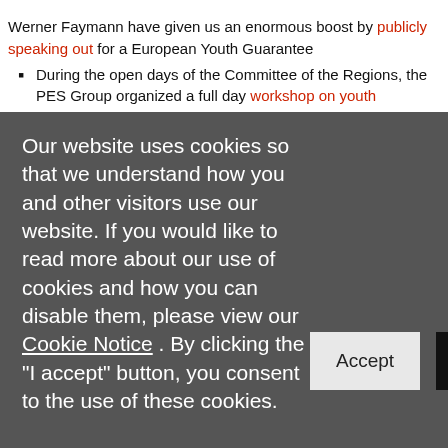Werner Faymann have given us an enormous boost by publicly speaking out for a European Youth Guarantee
During the open days of the Committee of the Regions, the PES Group organized a full day workshop on youth unemployment. W
Our website uses cookies so that we understand how you and other visitors use our website. If you would like to read more about our use of cookies and how you can disable them, please view our Cookie Notice . By clicking the "I accept" button, you consent to the use of these cookies.